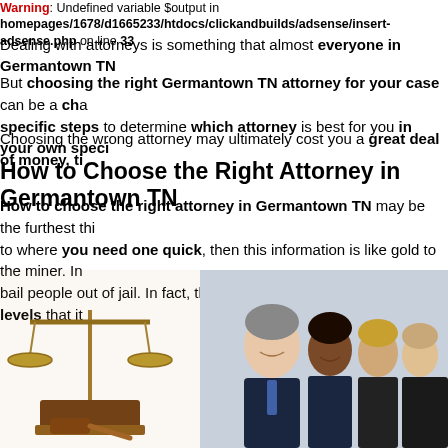Warning: Undefined variable $output in /homepages/1678/d1665233/htdocs/clickandbuilds/adsense/insert-adsense.php on line 33
Dealing with attorneys is something that almost everyone in Germantown TN
But choosing the right Germantown TN attorney for your case can be a cha... specific steps to determine which attorney is best for you in your own speci...
Choosing the wrong attorney may ultimately cost you a great deal of money, ti...
How to Choose the Right Attorney in Germantown TN
How to choose the right attorney in Germantown TN may be the furthest thi... to where you need one quick, then this information is like gold to the miner. In... bail people out of jail. In fact, they represent people on so many levels that it...
[Figure (photo): Scales of justice with gavel on a wooden surface]
[Figure (photo): Group of business professionals in suits sitting in a row, smiling]